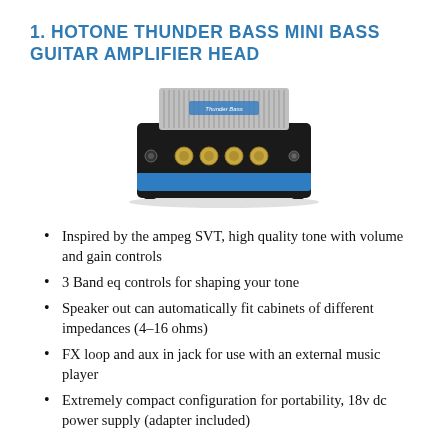1. HOTONE THUNDER BASS MINI BASS GUITAR AMPLIFIER HEAD
[Figure (photo): Photo of the Hotone Thunder Bass mini bass guitar amplifier head — a small black and blue amp head with gold knobs and a silver grille on top]
Inspired by the ampeg SVT, high quality tone with volume and gain controls
3 Band eq controls for shaping your tone
Speaker out can automatically fit cabinets of different impedances (4–16 ohms)
FX loop and aux in jack for use with an external music player
Extremely compact configuration for portability, 18v dc power supply (adapter included)